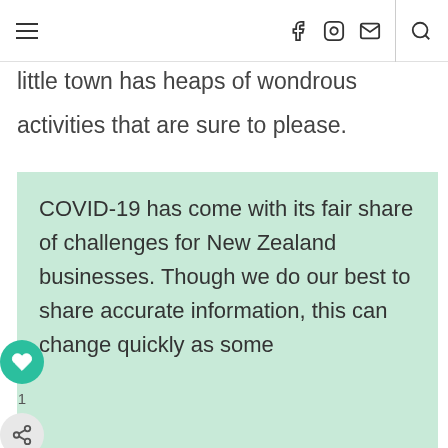[hamburger menu] [facebook] [instagram] [email] [search]
little town has heaps of wondrous activities that are sure to please.
COVID-19 has come with its fair share of challenges for New Zealand businesses. Though we do our best to share accurate information, this can change quickly as some